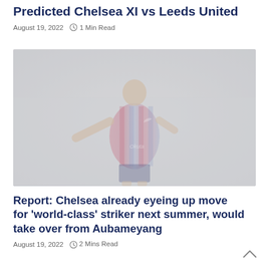Predicted Chelsea XI vs Leeds United
August 19, 2022   1 Min Read
[Figure (photo): A footballer in a red and blue striped kit with arms outstretched, faded/washed out image]
Report: Chelsea already eyeing up move for 'world-class' striker next summer, would take over from Aubameyang
August 19, 2022   2 Mins Read